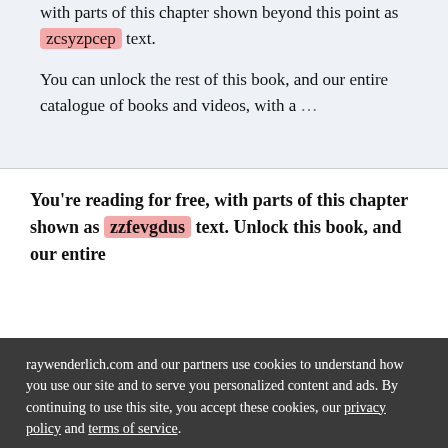with parts of this chapter shown beyond this point as zcsyzpcep text.
You can unlock the rest of this book, and our entire catalogue of books and videos, with a ...
You're reading for free, with parts of this chapter shown as zzfevgdus text. Unlock this book, and our entire
raywenderlich.com and our partners use cookies to understand how you use our site and to serve you personalized content and ads. By continuing to use this site, you accept these cookies, our privacy policy and terms of service.
OK ✓
Manage privacy settings